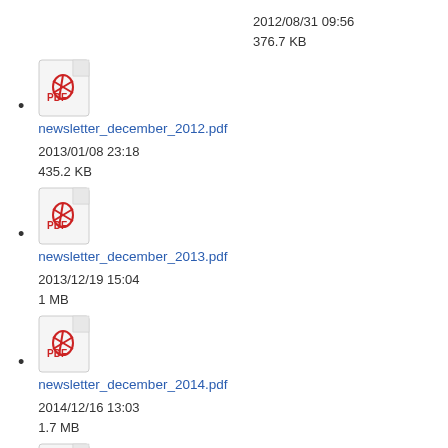2012/08/31 09:56
376.7 KB
newsletter_december_2012.pdf
2013/01/08 23:18
435.2 KB
newsletter_december_2013.pdf
2013/12/19 15:04
1 MB
newsletter_december_2014.pdf
2014/12/16 13:03
1.7 MB
newsletter_december_2015.pdf